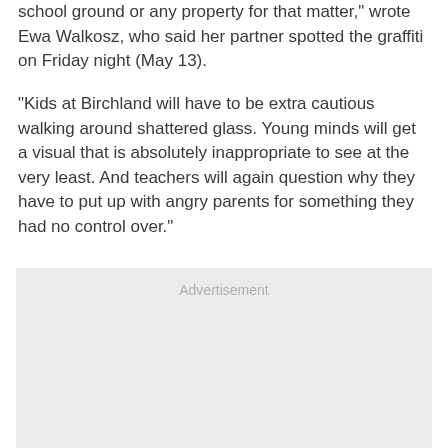school ground or any property for that matter," wrote Ewa Walkosz, who said her partner spotted the graffiti on Friday night (May 13).
"Kids at Birchland will have to be extra cautious walking around shattered glass. Young minds will get a visual that is absolutely inappropriate to see at the very least. And teachers will again question why they have to put up with angry parents for something they had no control over."
[Figure (other): Advertisement placeholder box with light gray background and 'Advertisement' label text centered at top.]